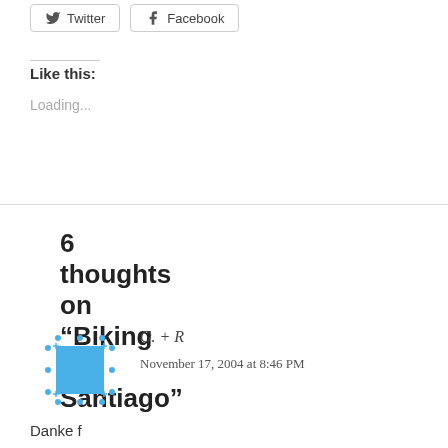[Figure (other): Twitter and Facebook share buttons at the top of the page]
Like this:
Loading...
6 thoughts on “Biking to Santiago”
[Figure (other): Blue avatar icon with dotted border for commenter O. + R]
O. + R
November 17, 2004 at 8:46 PM
Danke f